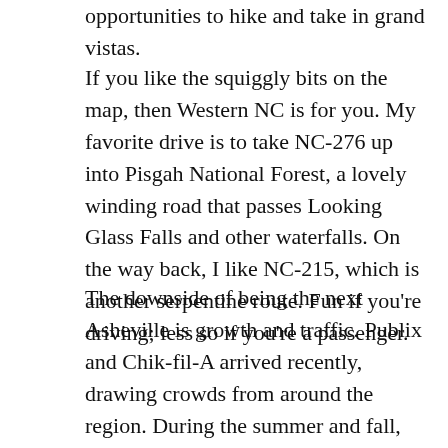opportunities to hike and take in grand vistas.
If you like the squiggly bits on the map, then Western NC is for you. My favorite drive is to take NC-276 up into Pisgah National Forest, a lovely winding road that passes Looking Glass Falls and other waterfalls. On the way back, I like NC-215, which is another serpentine route. Fun if you're driving; less so if you're a passenger.
The downside of being the next Asheville is growth and traffic. Publix and Chik-fil-A arrived recently, drawing crowds from around the region. During the summer and fall, Waynesville strains under the weight of visitors. For obvious reasons, it also draws